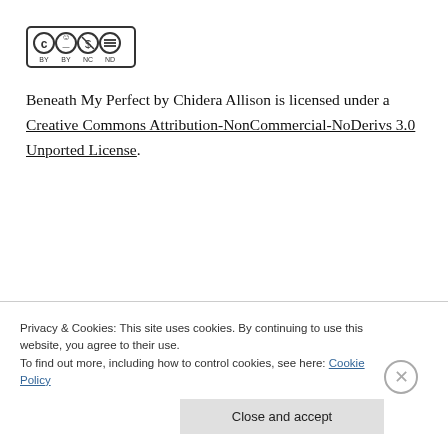[Figure (logo): Creative Commons BY-NC-ND license badge with CC, person, dollar-sign-crossed, and equals-sign-crossed icons in a bordered box]
Beneath My Perfect by Chidera Allison is licensed under a Creative Commons Attribution-NonCommercial-NoDerivs 3.0 Unported License.
Privacy & Cookies: This site uses cookies. By continuing to use this website, you agree to their use.
To find out more, including how to control cookies, see here: Cookie Policy
Close and accept